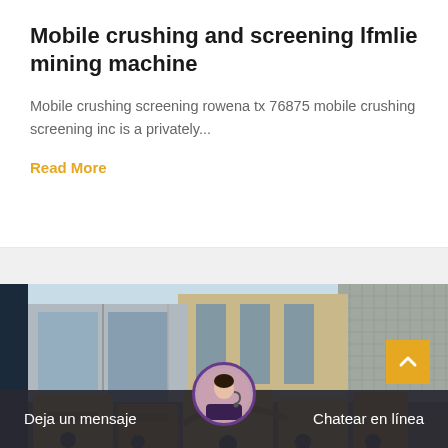Mobile crushing and screening lfmlie mining machine
Mobile crushing screening rowena tx 76875 mobile crushing screening inc is a privately...
Read More
[Figure (photo): Urban construction scene with glass office buildings and yellow heavy mining/crushing machinery in the foreground]
Deja un mensaje
Chatear en línea